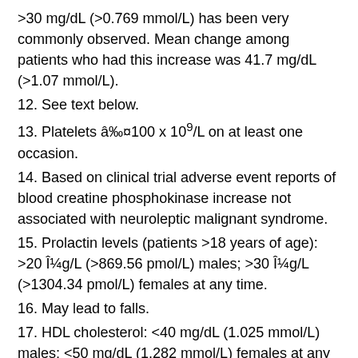>30 mg/dL (>0.769 mmol/L) has been very commonly observed. Mean change among patients who had this increase was 41.7 mg/dL (>1.07 mmol/L).
12. See text below.
13. Platelets â‰¤100 x 10⁹/L on at least one occasion.
14. Based on clinical trial adverse event reports of blood creatine phosphokinase increase not associated with neuroleptic malignant syndrome.
15. Prolactin levels (patients >18 years of age): >20 Î¼g/L (>869.56 pmol/L) males; >30 Î¼g/L (>1304.34 pmol/L) females at any time.
16. May lead to falls.
17. HDL cholesterol: <40 mg/dL (1.025 mmol/L) males; <50 mg/dL (1.282 mmol/L) females at any